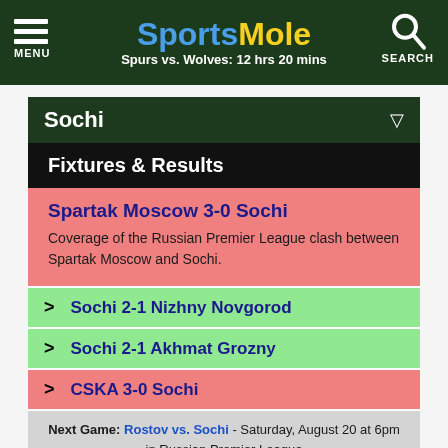SportsMole — Spurs vs. Wolves: 12 hrs 20 mins — MENU — SEARCH
Sochi
Fixtures & Results
Spartak Moscow 3-0 Sochi — Coverage of the Russian Premier League clash between Spartak Moscow and Sochi.
> Sochi 2-1 Nizhny Novgorod
> Sochi 2-1 Akhmat Grozny
> CSKA 3-0 Sochi
Next Game: Rostov vs. Sochi - Saturday, August 20 at 6pm in Russian Premier League
> Sochi Fixtures & Results in full